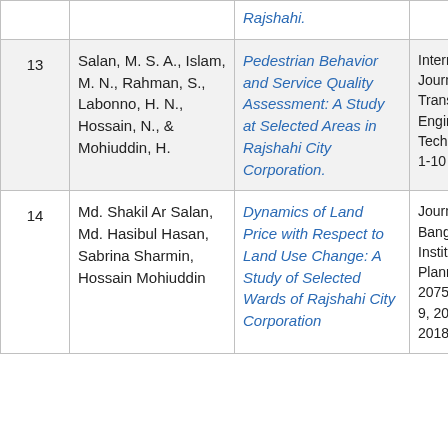| # | Author(s) | Title | Journal/Source |
| --- | --- | --- | --- |
|  |  | Rajshahi. |  |
| 13 | Salan, M. S. A., Islam, M. N., Rahman, S., Labonno, H. N., Hossain, N., & Mohiuddin, H. | Pedestrian Behavior and Service Quality Assessment: A Study at Selected Areas in Rajshahi City Corporation. | International Journal of Transportation Engineering and Technology, 4(1), 1-10 |
| 14 | Md. Shakil Ar Salan, Md. Hasibul Hasan, Sabrina Sharmin, Hossain Mohiuddin | Dynamics of Land Price with Respect to Land Use Change: A Study of Selected Wards of Rajshahi City Corporation | Journal of Bangladesh Institute of Planners, 2075-93, Vol. 9, 2016 (Printed 2018), pp |